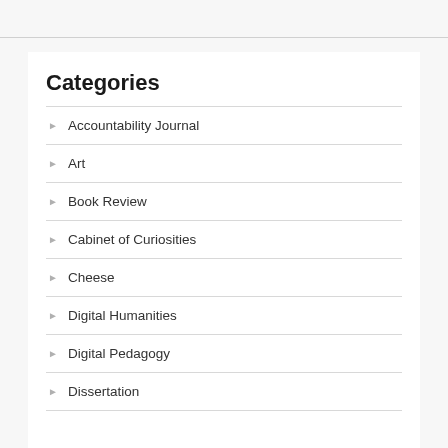Categories
Accountability Journal
Art
Book Review
Cabinet of Curiosities
Cheese
Digital Humanities
Digital Pedagogy
Dissertation